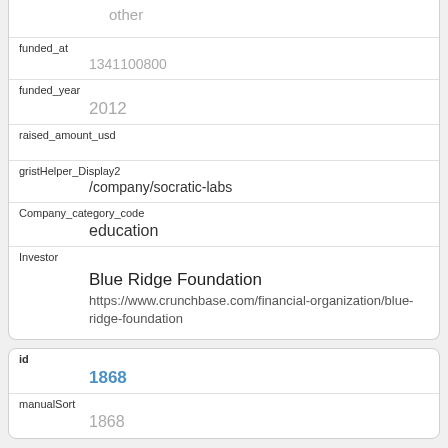other
funded_at
1341100800
funded_year
2012
raised_amount_usd
gristHelper_Display2
/company/socratic-labs
Company_category_code
education
Investor
Blue Ridge Foundation
https://www.crunchbase.com/financial-organization/blue-ridge-foundation
id
1868
manualSort
1868